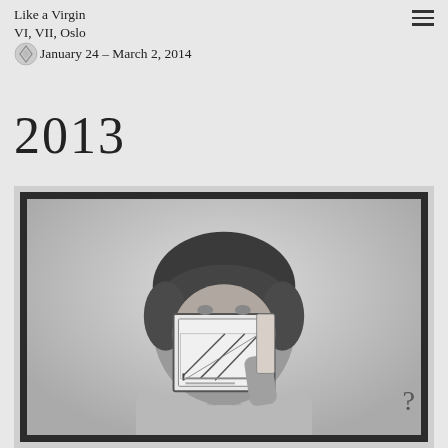Like a Virgin VI, VII, Oslo
January 24 – March 2, 2014
2013
[Figure (photo): Black and white framed photograph of a person (young man with dark hair) holding up a small framed image in front of their face, obscuring part of their face. The held image appears to show industrial or architectural structures. The photograph is mounted in a dark frame against a light background.]